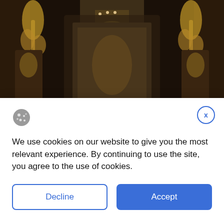[Figure (photo): Luxury hotel interior with ornate dark wood paneling, decorative golden floral sculptures/candelabras, a teal/turquoise velvet sofa with carved wooden frame and floral ornaments, white silk pillows, and a mirrored background with warm chandelier lighting.]
We use cookies on our website to give you the most relevant experience. By continuing to use the site, you agree to the use of cookies.
Decline
Accept